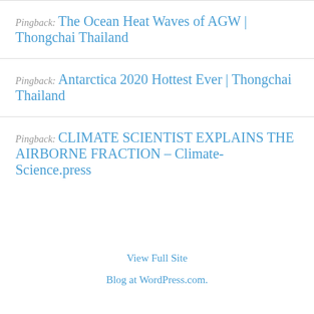Pingback: The Ocean Heat Waves of AGW | Thongchai Thailand
Pingback: Antarctica 2020 Hottest Ever | Thongchai Thailand
Pingback: CLIMATE SCIENTIST EXPLAINS THE AIRBORNE FRACTION – Climate- Science.press
View Full Site
Blog at WordPress.com.